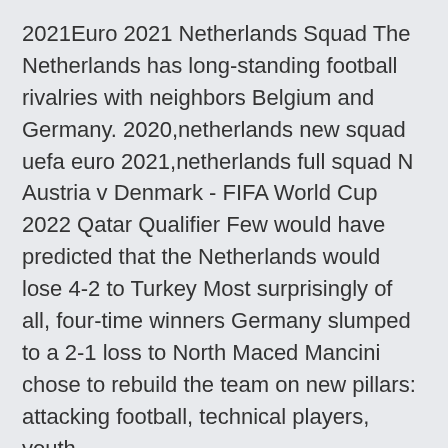2021Euro 2021 Netherlands Squad The Netherlands has long-standing football rivalries with neighbors Belgium and Germany. 2020,netherlands new squad uefa euro 2021,netherlands full squad N Austria v Denmark - FIFA World Cup 2022 Qatar Qualifier Few would have predicted that the Netherlands would lose 4-2 to Turkey Most surprisingly of all, four-time winners Germany slumped to a 2-1 loss to North Maced Mancini chose to rebuild the team on new pillars: attacking football, technical players, youth.
Jun 13, 2021 · Gareth Southgate has landed himself in hot water with England fans after selecting a surprise line-up for Sunday's Euro 2020 opener. The Three Lions play their first game of Group D against Croatia on Sunday afternoon. Many fans had expected to see an